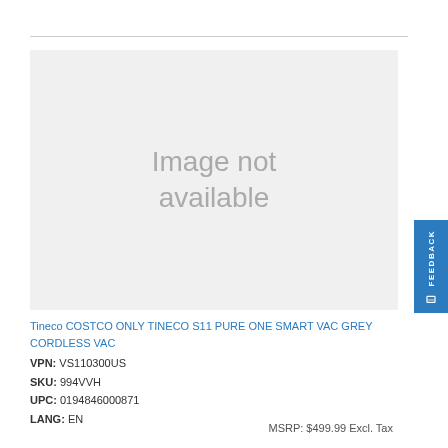[Figure (other): Image not available placeholder — light grey rectangle with centered text 'Image not available']
Tineco COSTCO ONLY TINECO S11 PURE ONE SMART VAC GREY CORDLESS VAC
VPN: VS110300US
SKU: 994VVH
UPC: 0194846000871
LANG: EN
MSRP: $499.99 Excl. Tax